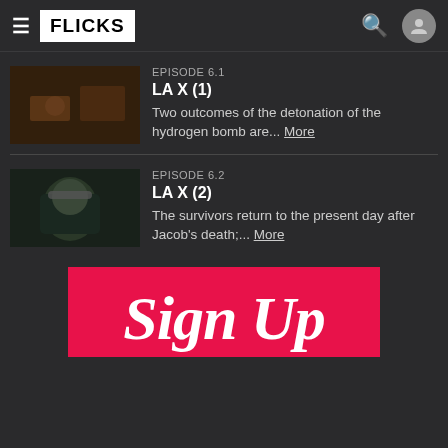FLICKS
EPISODE 6.1
LA X (1)
Two outcomes of the detonation of the hydrogen bomb are... More
[Figure (photo): Dark scene thumbnail for Episode 6.1 LA X (1)]
EPISODE 6.2
LA X (2)
The survivors return to the present day after Jacob's death;... More
[Figure (photo): Dark scene thumbnail for Episode 6.2 LA X (2), showing a person wearing headphones]
[Figure (infographic): Sign Up banner in pink/red background with cursive white text]